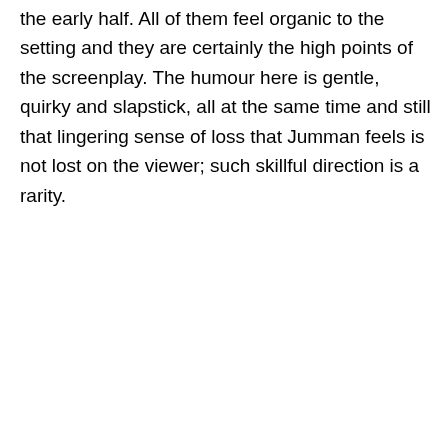the early half. All of them feel organic to the setting and they are certainly the high points of the screenplay. The humour here is gentle, quirky and slapstick, all at the same time and still that lingering sense of loss that Jumman feels is not lost on the viewer; such skillful direction is a rarity.